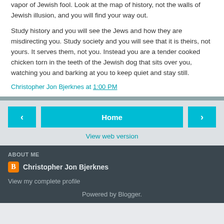vapor of Jewish fool. Look at the map of history, not the walls of Jewish illusion, and you will find your way out.
Study history and you will see the Jews and how they are misdirecting you. Study society and you will see that it is theirs, not yours. It serves them, not you. Instead you are a tender cooked chicken torn in the teeth of the Jewish dog that sits over you, watching you and barking at you to keep quiet and stay still.
Christopher Jon Bjerknes at 1:00 PM
Home
View web version
ABOUT ME
Christopher Jon Bjerknes
View my complete profile
Powered by Blogger.